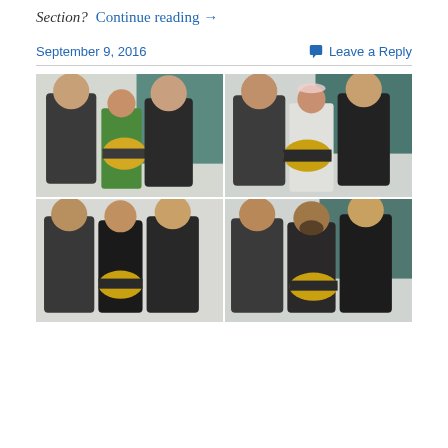Section?  Continue reading →
September 9, 2016    Leave a Reply
[Figure (photo): Four photos arranged in a 2x2 grid showing groups of people posing with a championship belt/trophy in what appears to be an indoor setting.]